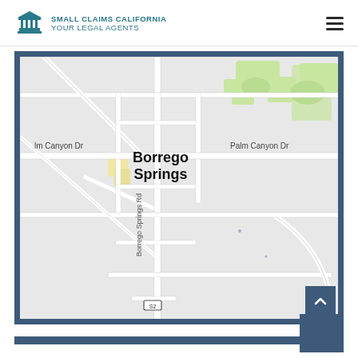Small Claims California - Your Legal Agents
[Figure (map): Google Maps view showing Borrego Springs, California with streets including Palm Canyon Dr and Borrego Springs Rd visible]